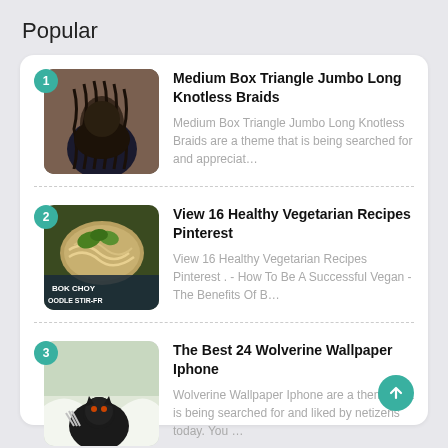Popular
Medium Box Triangle Jumbo Long Knotless Braids
Medium Box Triangle Jumbo Long Knotless Braids are a theme that is being searched for and appreciat…
View 16 Healthy Vegetarian Recipes Pinterest
View 16 Healthy Vegetarian Recipes Pinterest . - How To Be A Successful Vegan - The Benefits Of B…
The Best 24 Wolverine Wallpaper Iphone
Wolverine Wallpaper Iphone are a theme that is being searched for and liked by netizens today. You …